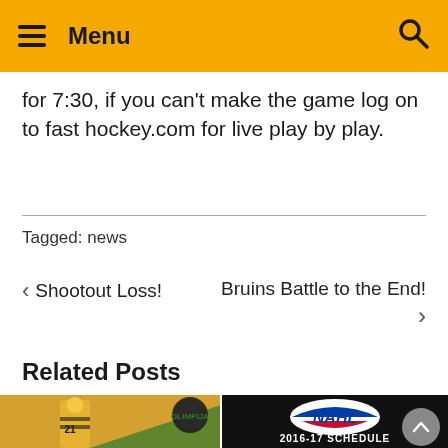Menu
for 7:30, if you can’t make the game log on to fast hockey.com for live play by play.
Tagged: news
‹ Shootout Loss!
Bruins Battle to the End! ›
Related Posts
[Figure (photo): Hockey player in yellow and black jersey number 21 on ice, with Olimpija logo overlay]
[Figure (logo): NAHL logo with text 2016-17 SCHEDULE on black background]